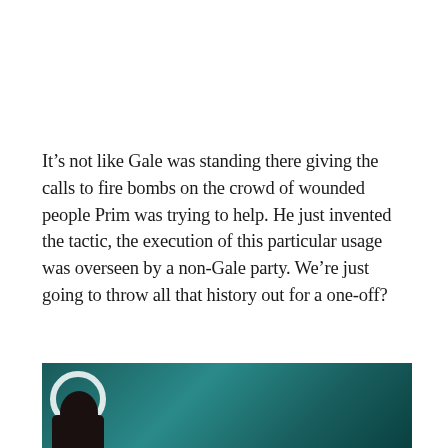It’s not like Gale was standing there giving the calls to fire bombs on the crowd of wounded people Prim was trying to help. He just invented the tactic, the execution of this particular usage was overseen by a non-Gale party. We’re just going to throw all that history out for a one-off?
[Figure (photo): Partial photo at bottom of page showing a person with dark hair against a teal/green background, with a circular ring shape visible on the left side.]